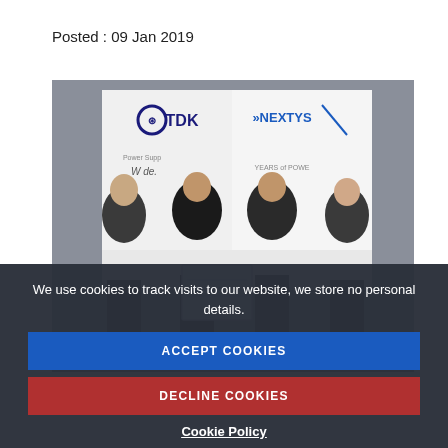Posted : 09 Jan 2019
[Figure (photo): Four men standing in front of TDK and Nextys banners. Two men in the center are holding a framed certificate or document. All four are wearing business suits.]
Adam Rawicz, Managing Director, TDK-Lambda EMEA; ...; TDK-Lambda Corporation Japan; Martin Davis; Lambda Germany
We use cookies to track visits to our website, we store no personal details.
ACCEPT COOKIES
DECLINE COOKIES
Cookie Policy